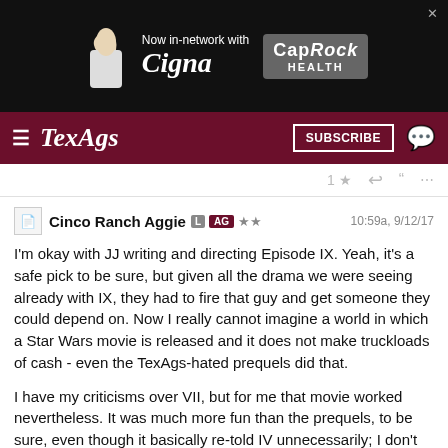[Figure (screenshot): Advertisement banner: Now in-network with Cigna / CapRock Health]
TexAgs — SUBSCRIBE
1 ★ ↩ ❝ •••
Cinco Ranch Aggie  L  AG  ★★   10:59a, 9/12/17
I'm okay with JJ writing and directing Episode IX. Yeah, it's a safe pick to be sure, but given all the drama we were seeing already with IX, they had to fire that guy and get someone they could depend on. Now I really cannot imagine a world in which a Star Wars movie is released and it does not make truckloads of cash - even the TexAgs-hated prequels did that.

I have my criticisms over VII, but for me that movie worked nevertheless. It was much more fun than the prequels, to be sure, even though it basically re-told IV unnecessarily; I don't believe they needed to play it safe with regard to the story they told. It was the first new Star Wars movie in a decade, or as many here would say, since 1983. It was going to be successful. But I really hope JJ does not feel the need to give us his take on Return of the Jedi.
★ ↩ ❝ •••